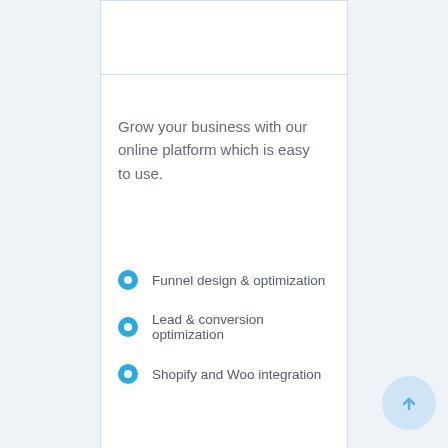Grow your business with our online platform which is easy to use.
Funnel design & optimization
Lead & conversion optimization
Shopify and Woo integration
[Figure (illustration): Scroll-to-top button: a light blue circle with an upward arrow icon, positioned in the bottom-right corner]